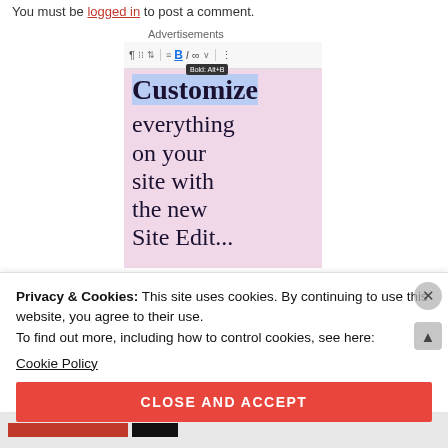You must be logged in to post a comment.
Advertisements
[Figure (screenshot): WordPress block editor screenshot showing a pink advertisement with text 'Customize everything on your site with the new Site Edit...' and a bold/italic toolbar at the top]
Privacy & Cookies: This site uses cookies. By continuing to use this website, you agree to their use.
To find out more, including how to control cookies, see here:
Cookie Policy
CLOSE AND ACCEPT